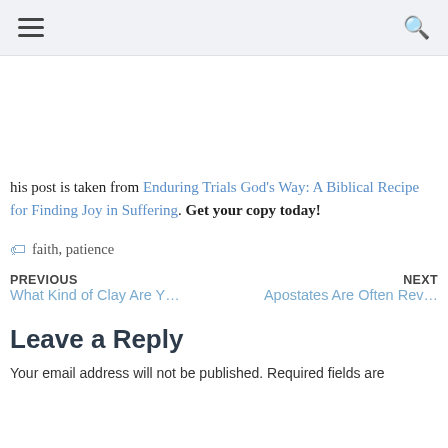[hamburger menu icon] [search icon]
his post is taken from Enduring Trials God’s Way: A Biblical Recipe for Finding Joy in Suffering. Get your copy today!
🏷 faith, patience
PREVIOUS
What Kind of Clay Are Y…
NEXT
Apostates Are Often Rev…
Leave a Reply
Your email address will not be published. Required fields are